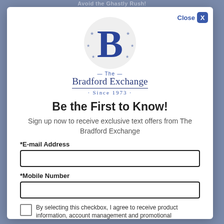Avoid the Ghastly Rush!
[Figure (logo): The Bradford Exchange logo: large blue serif B on a light grey circle with decorative stars, with 'The Bradford Exchange · Since 1973 · ' text below]
Be the First to Know!
Sign up now to receive exclusive text offers from The Bradford Exchange
*E-mail Address
*Mobile Number
By selecting this checkbox, I agree to receive product information, account management and promotional messages from The Bradford Exchange. Message frequency varies
Read More v